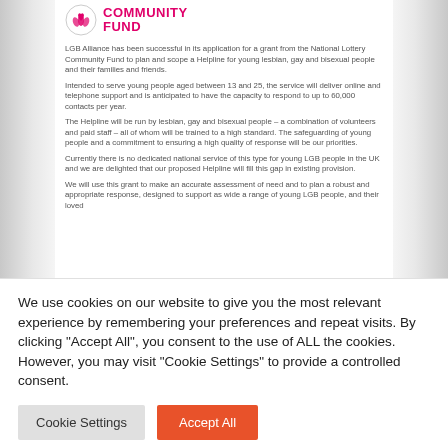[Figure (logo): National Lottery Community Fund logo with hand/heart icon and pink/magenta text reading COMMUNITY FUND]
LGB Alliance has been successful in its application for a grant from the National Lottery Community Fund to plan and scope a Helpline for young lesbian, gay and bisexual people and their families and friends.
Intended to serve young people aged between 13 and 25, the service will deliver online and telephone support and is anticipated to have the capacity to respond to up to 60,000 contacts per year.
The Helpline will be run by lesbian, gay and bisexual people – a combination of volunteers and paid staff – all of whom will be trained to a high standard. The safeguarding of young people and a commitment to ensuring a high quality of response will be our priorities.
Currently there is no dedicated national service of this type for young LGB people in the UK and we are delighted that our proposed Helpline will fill this gap in existing provision.
We will use this grant to make an accurate assessment of need and to plan a robust and appropriate response, designed to support as wide a range of young LGB people, and their loved…
We use cookies on our website to give you the most relevant experience by remembering your preferences and repeat visits. By clicking "Accept All", you consent to the use of ALL the cookies. However, you may visit "Cookie Settings" to provide a controlled consent.